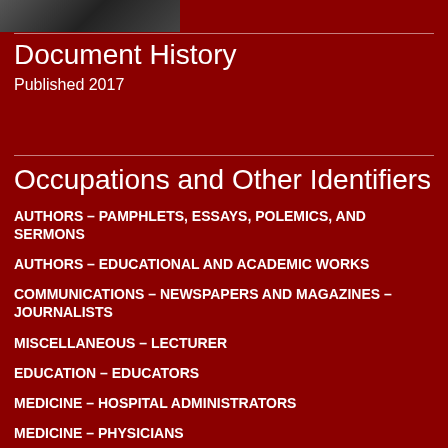[Figure (photo): Small black and white photo strip at top left corner]
Document History
Published 2017
Occupations and Other Identifiers
AUTHORS – PAMPHLETS, ESSAYS, POLEMICS, AND SERMONS
AUTHORS – EDUCATIONAL AND ACADEMIC WORKS
COMMUNICATIONS – NEWSPAPERS AND MAGAZINES – JOURNALISTS
MISCELLANEOUS – LECTURER
EDUCATION – EDUCATORS
MEDICINE – HOSPITAL ADMINISTRATORS
MEDICINE – PHYSICIANS